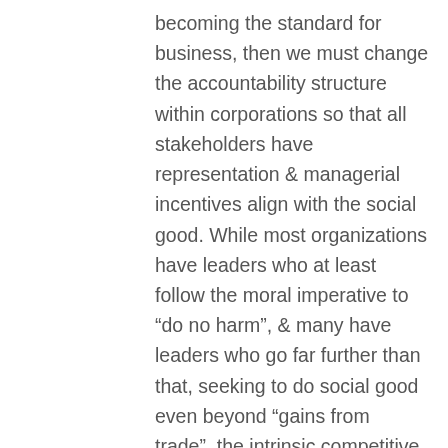becoming the standard for business, then we must change the accountability structure within corporations so that all stakeholders have representation & managerial incentives align with the social good. While most organizations have leaders who at least follow the moral imperative to “do no harm”, & many have leaders who go far further than that, seeking to do social good even beyond “gains from trade”, the intrinsic competitive nature of the marketplace will ensure that those corporations that can externalize costs will be the market victors. This simple competitive logic guarantees the spread of corporate pathology, of acting exclusively in the corporate self-interest. The only market